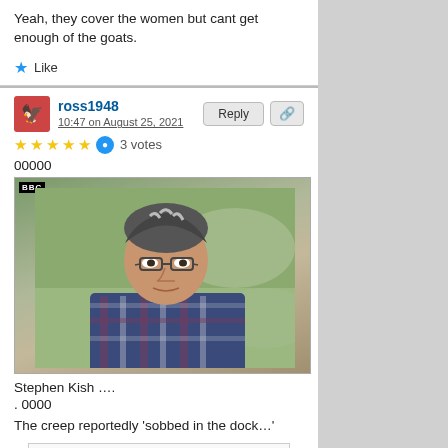Yeah, they cover the women but cant get enough of the goats.
★ Like
ross1948
10:47 on August 25, 2021
★★★★★ 3 votes
00000
[Figure (photo): Photo of Stephen Kish, a young man with grey-streaked dark hair, glasses, and a plaid shirt, appearing on BBC.]
Stephen Kish ….
. 0000
The creep reportedly 'sobbed in the dock…'